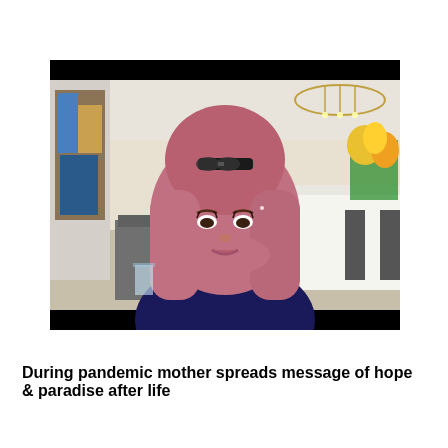[Figure (photo): A woman wearing a mauve/rose-colored hijab with sunglasses resting on top of her head, smiling at the camera. She is in an elegant restaurant or dining room setting with white tablecloths, flowers, and a chandelier in the background. The image has black letterbox bars at the top and bottom.]
During pandemic mother spreads message of hope & paradise after life